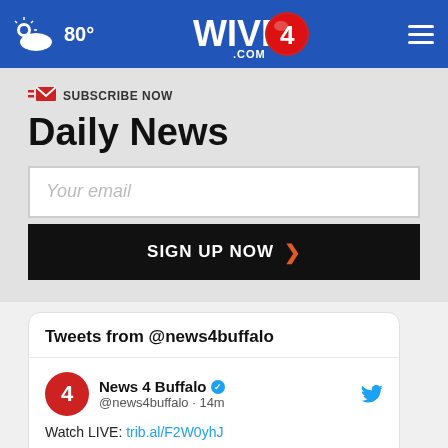80° WIVB4.COM
SUBSCRIBE NOW
Daily News
Your email
SIGN UP NOW
Tweets from @news4buffalo
News 4 Buffalo @news4buffalo · 14m Watch LIVE: trib.al/F2W0yhJ